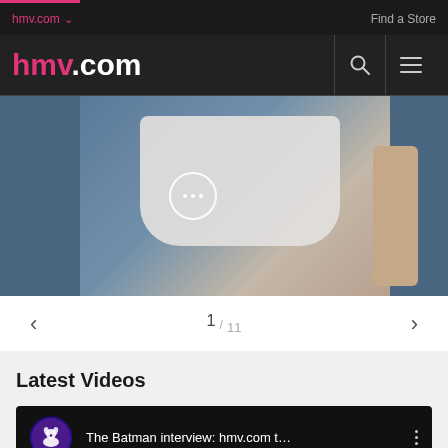hmv.com ∨   Find a Store
[Figure (logo): hmv.com logo in pink and white on dark background header with search and menu icons]
[Figure (photo): Person wearing white top photo with three-dots circle overlay button, slide 1 of 11]
1 / 11
Latest Videos
[Figure (screenshot): Video thumbnail: The Batman interview: hmv.com t… with HMV dog logo icon and vertical three-dot menu]